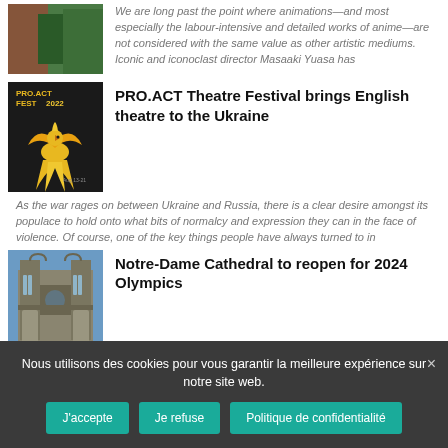[Figure (photo): Thumbnail image with green/red tones, partially visible at top]
We are long past the point where animations—and most especially the labour-intensive and detailed works of anime—are not considered with the same value as other artistic mediums. Iconic and iconoclast director Masaaki Yuasa has
[Figure (illustration): PRO.ACT FEST 2022 poster with golden phoenix bird on dark background]
PRO.ACT Theatre Festival brings English theatre to the Ukraine
As the war rages on between Ukraine and Russia, there is a clear desire amongst its populace to hold onto what bits of normalcy and expression they can in the face of violence. Of course, one of the key things people have always turned to in
[Figure (photo): Notre-Dame Cathedral exterior photograph showing Gothic architecture]
Notre-Dame Cathedral to reopen for 2024 Olympics
The world seemed to collectively gasp in 2019 when Paris' Notre-Dame Cathedral was devastated by an intense fire. It was an unexpected and severe marring on a world monument the likes of which we have not seen for some time, but
Nous utilisons des cookies pour vous garantir la meilleure expérience sur notre site web.